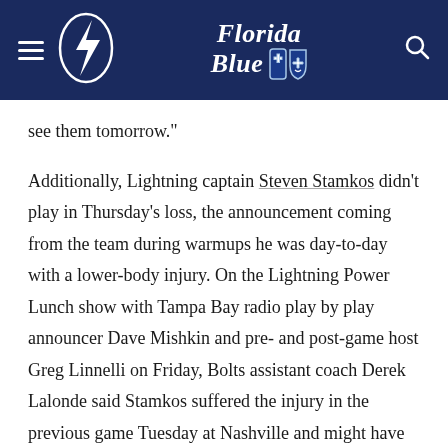Tampa Bay Lightning | Florida Blue
see them tomorrow."
Additionally, Lightning captain Steven Stamkos didn't play in Thursday's loss, the announcement coming from the team during warmups he was day-to-day with a lower-body injury. On the Lightning Power Lunch show with Tampa Bay radio play by play announcer Dave Mishkin and pre- and post-game host Greg Linnelli on Friday, Bolts assistant coach Derek Lalonde said Stamkos suffered the injury in the previous game Tuesday at Nashville and might have been able to play if Thursday's contest were a playoff game.